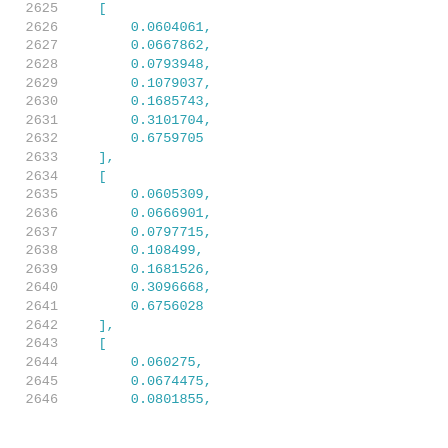2625    [
2626        0.0604061,
2627        0.0667862,
2628        0.0793948,
2629        0.1079037,
2630        0.1685743,
2631        0.3101704,
2632        0.6759705
2633    ],
2634    [
2635        0.0605309,
2636        0.0666901,
2637        0.0797715,
2638        0.108499,
2639        0.1681526,
2640        0.3096668,
2641        0.6756028
2642    ],
2643    [
2644        0.060275,
2645        0.0674475,
2646        0.0801855,